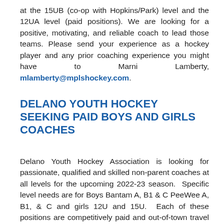at the 15UB (co-op with Hopkins/Park) level and the 12UA level (paid positions). We are looking for a positive, motivating, and reliable coach to lead those teams. Please send your experience as a hockey player and any prior coaching experience you might have to Marni Lamberty, mlamberty@mplshockey.com.
DELANO YOUTH HOCKEY SEEKING PAID BOYS AND GIRLS COACHES
Delano Youth Hockey Association is looking for passionate, qualified and skilled non-parent coaches at all levels for the upcoming 2022-23 season.  Specific level needs are for Boys Bantam A, B1 & C PeeWee A, B1, & C and girls 12U and 15U.  Each of these positions are competitively paid and out-of-town travel expenses are issued a stipend to cover travel, food and lodging.  Head Coach and Assistant Coach roles are available.  We will work with you to find the appropriate fit...